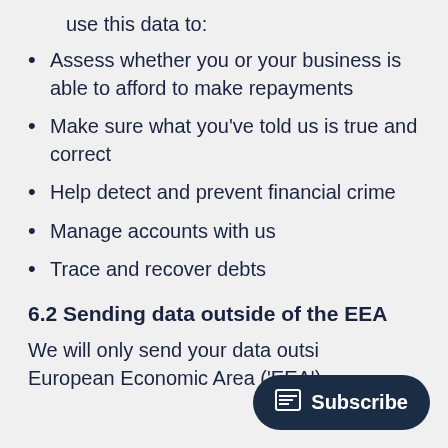use this data to:
Assess whether you or your business is able to afford to make repayments
Make sure what you’ve told us is true and correct
Help detect and prevent financial crime
Manage accounts with us
Trace and recover debts
6.2 Sending data outside of the EEA
We will only send your data outsi… European Economic Area (‘EEA’)…